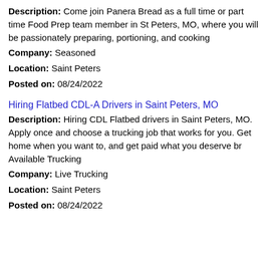Description: Come join Panera Bread as a full time or part time Food Prep team member in St Peters, MO, where you will be passionately preparing, portioning, and cooking
Company: Seasoned
Location: Saint Peters
Posted on: 08/24/2022
Hiring Flatbed CDL-A Drivers in Saint Peters, MO
Description: Hiring CDL Flatbed drivers in Saint Peters, MO. Apply once and choose a trucking job that works for you. Get home when you want to, and get paid what you deserve br Available Trucking
Company: Live Trucking
Location: Saint Peters
Posted on: 08/24/2022